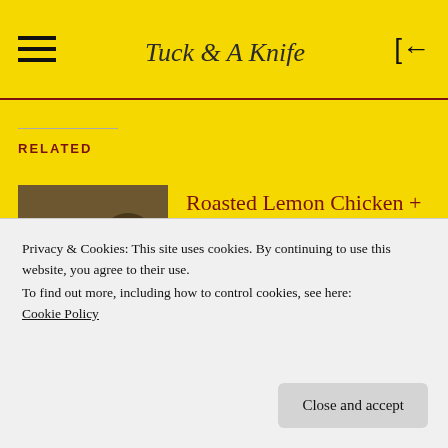Tuck & A Knife (logo/wordmark)
RELATED
[Figure (photo): Food photo of Roasted Lemon Chicken and Black Truffle Pasta dish]
Roasted Lemon Chicken + Black Truffle Pasta
Privacy & Cookies: This site uses cookies. By continuing to use this website, you agree to their use.
To find out more, including how to control cookies, see here:
Cookie Policy